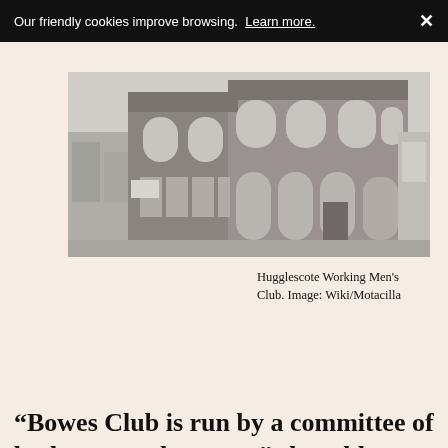Our friendly cookies improve browsing. Learn more. ✕
[Figure (photo): Black and white photograph of Hugglescote Working Men's Club, a two-storey Victorian brick building with arched windows.]
Hugglescote Working Men's Club. Image: Wiki/Motacilla
“Bowes Club is run by a committee of both men and women,” she told me, “Ranging in age from 30 to 80 years old. Women have